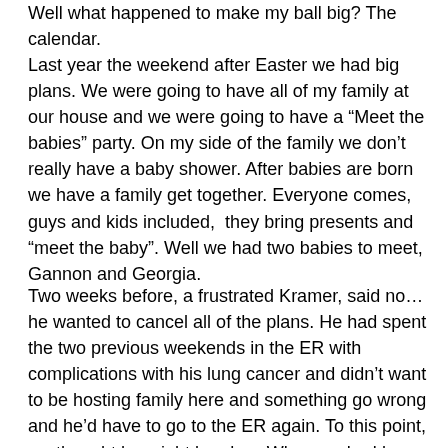Well what happened to make my ball big?  The calendar.
Last year the weekend after Easter we had big plans.  We were going to have all of my family at our house and we were going to have a “Meet the babies” party.  On my side of the family we don’t really have a baby shower.  After babies are born we have a family get together.  Everyone comes, guys and kids included,  they bring presents and “meet the baby”.  Well we had two babies to meet, Gannon and Georgia.
Two weeks before, a frustrated Kramer, said no…he wanted to cancel all of the plans.  He had spent the two previous weekends in the ER with complications with his lung cancer and didn’t want to be hosting family here and something go wrong and he’d have to go to the ER again.  To this point, we thought he might be okay.  When we had been doctoring, his main doctor said this was all curable.  In February they had tried to remove his tumor, but failed.  Even then, they said,